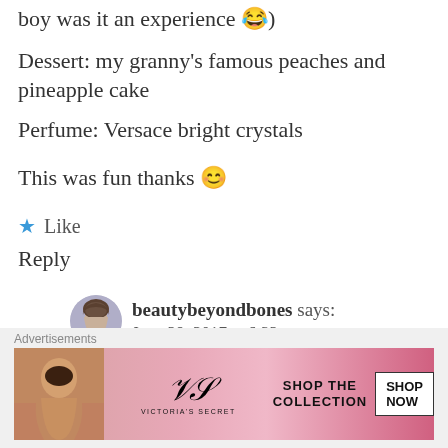boy was it an experience 😂)
Dessert: my granny's famous peaches and pineapple cake
Perfume: Versace bright crystals
This was fun thanks 😊
★ Like
Reply
beautybeyondbones says:
June 29, 2017 at 6:32 pm
oh dang your grandmas dessert
Advertisements
[Figure (other): Victoria's Secret advertisement banner: SHOP THE COLLECTION / SHOP NOW]